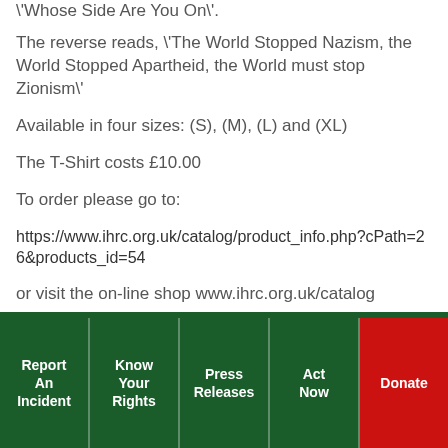\whose Side Are You On\.
The reverse reads, \'The World Stopped Nazism, the World Stopped Apartheid, the World must stop Zionism\'
Available in four sizes: (S), (M), (L) and (XL)
The T-Shirt costs £10.00
To order please go to:
https://www.ihrc.org.uk/catalog/product_info.php?cPath=26&products_id=54
or visit the on-line shop www.ihrc.org.uk/catalog
Report An Incident | Know Your Rights | Press Releases | Act Now | Donate